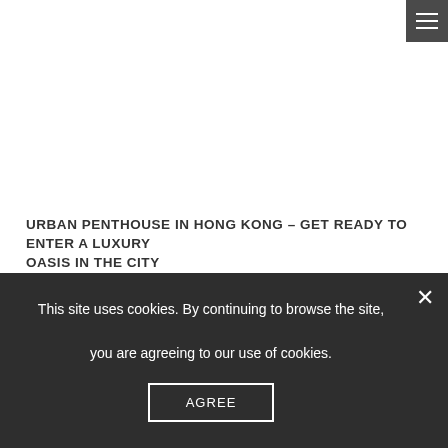[Figure (other): Hamburger/navigation menu button icon in dark grey square, top right corner]
URBAN PENTHOUSE IN HONG KONG – GET READY TO ENTER A LUXURY OASIS IN THE CITY
This site uses cookies. By continuing to browse the site, you are agreeing to our use of cookies.
AGREE